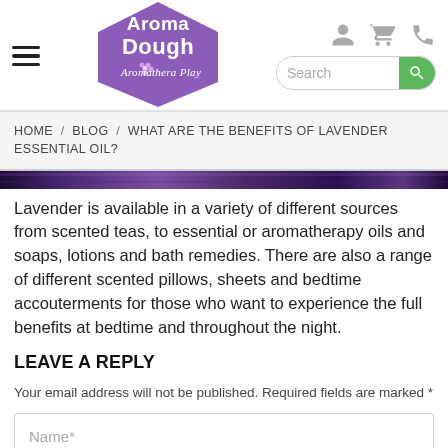[Figure (logo): Aroma Dough Aromathera Play logo — purple pentagon shield shape with white text]
HOME / BLOG / WHAT ARE THE BENEFITS OF LAVENDER ESSENTIAL OIL?
[Figure (photo): Dark purple lavender flowers image strip]
Lavender is available in a variety of different sources from scented teas, to essential or aromatherapy oils and soaps, lotions and bath remedies. There are also a range of different scented pillows, sheets and bedtime accouterments for those who want to experience the full benefits at bedtime and throughout the night.
LEAVE A REPLY
Your email address will not be published. Required fields are marked *
Name*